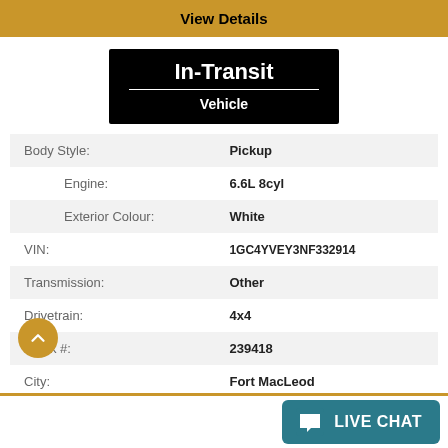View Details
[Figure (other): In-Transit Vehicle badge — black background with white bold text 'In-Transit' and 'Vehicle' separated by a white horizontal line]
| Body Style: | Pickup |
| Engine: | 6.6L 8cyl |
| Exterior Colour: | White |
| VIN: | 1GC4YVEY3NF332914 |
| Transmission: | Other |
| Drivetrain: | 4x4 |
| Stock #: | 239418 |
| City: | Fort MacLeod |
Scougall Motors Ltd.   403-553-3311